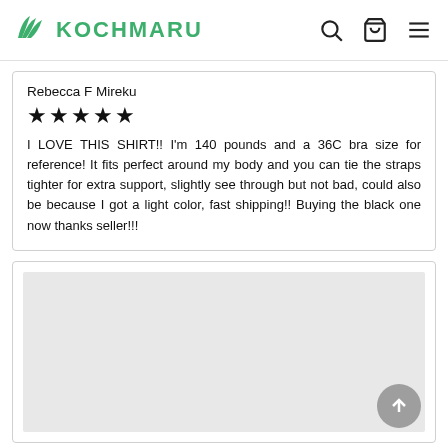KOCHMARU
Rebecca F Mireku
★★★★★
I LOVE THIS SHIRT!! I'm 140 pounds and a 36C bra size for reference! It fits perfect around my body and you can tie the straps tighter for extra support, slightly see through but not bad, could also be because I got a light color, fast shipping!! Buying the black one now thanks seller!!!
[Figure (other): Gray placeholder image area in a card, with a back-to-top circular button in bottom right]